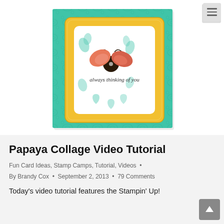[Figure (photo): A handmade greeting card with teal/mint textured background paper and a layered insert with yellow ornate border, featuring a butterfly embellishment and the text 'always thinking of you' in script. The card is shown propped open at an angle against a white background. A hamburger menu icon is visible in the top right corner.]
Papaya Collage Video Tutorial
Fun Card Ideas, Stamp Camps, Tutorial, Videos  •
By Brandy Cox  •  September 2, 2013  •  79 Comments
Today's video tutorial features the Stampin' Up!